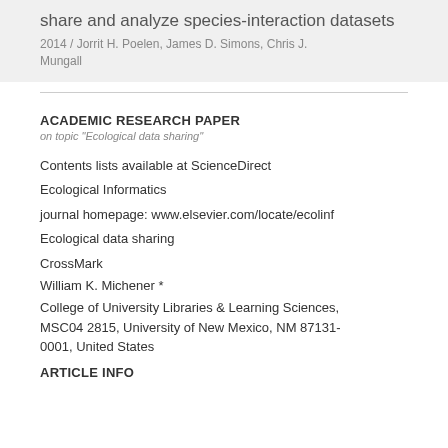share and analyze species-interaction datasets
2014 / Jorrit H. Poelen, James D. Simons, Chris J. Mungall
ACADEMIC RESEARCH PAPER
on topic "Ecological data sharing"
Contents lists available at ScienceDirect
Ecological Informatics
journal homepage: www.elsevier.com/locate/ecolinf
Ecological data sharing
CrossMark
William K. Michener *
College of University Libraries & Learning Sciences, MSC04 2815, University of New Mexico, NM 87131-0001, United States
ARTICLE INFO